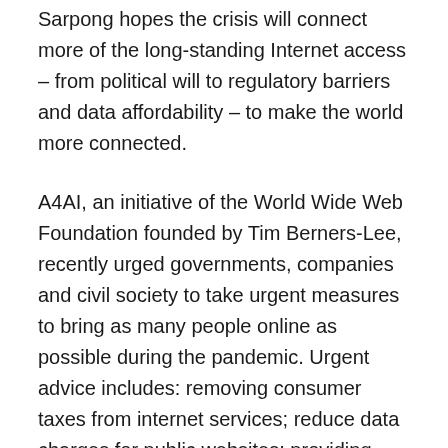Sarpong hopes the crisis will connect more of the long-standing Internet access – from political will to regulatory barriers and data affordability – to make the world more connected.
A4AI, an initiative of the World Wide Web Foundation founded by Tim Berners-Lee, recently urged governments, companies and civil society to take urgent measures to bring as many people online as possible during the pandemic. Urgent advice includes: removing consumer taxes from internet services; reduce data charges for public websites; providing affordable data packages; broadening of broadband allowances; and spread the free public wifi infrastructure.